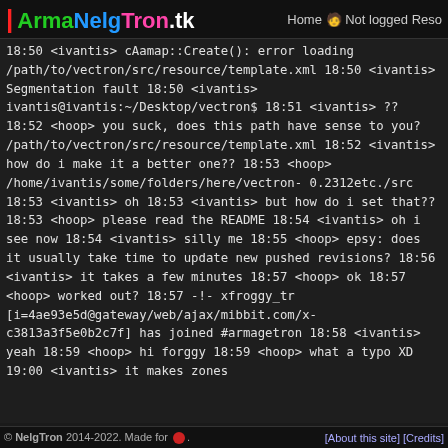ArmaNelgTron.tk  Home  Not logged  Reso
18:50 <ivantis> cAamap::Create(): error loading /path/to/vectron/src/resource/template.xml
18:50 <ivantis> Segmentation fault
18:50 <ivantis> ivantis@ivantis:~/Desktop/vectron$
18:51 <ivantis> ??
18:52 <hoop> you suck, does this path have sense to you? /path/to/vectron/src/resource/template.xml
18:52 <ivantis> how do i make it a better one??
18:53 <hoop> /home/ivantis/some/folders/here/vectron-0.2312etc./src
18:53 <ivantis> oh
18:53 <ivantis> but how do i set that??
18:53 <hoop> please read the README
18:54 <ivantis> oh i see now
18:54 <ivantis> silly me
18:55 <hoop> epsy: does it usually take time to update new pushed revisions?
18:56 <ivantis> it takes a few minutes
18:57 <hoop> ok
18:57 <hoop> worked out?
18:57 -!- xfroggy_tr [i=4ae93e5d@gateway/web/ajax/mibbit.com/x-c3813a3f5e0b2c7f] has joined #armagetron
18:58 <ivantis> yeah
18:59 <hoop> hi forggy
18:59 <hoop> what a typo XD
19:00 <ivantis> it makes zones
© NelgTron 2014-2022. Made for . [About this site] [Credits]